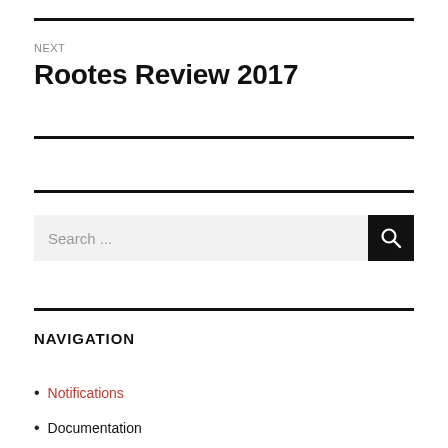NEXT
Rootes Review 2017
Search ...
NAVIGATION
Notifications
Documentation